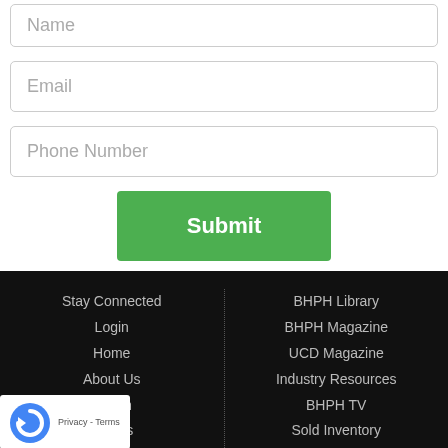Name
Email
Phone Number
Submit
Stay Connected | Login | Home | About Us | Forum | Events | NIADA Convention & | BHPH Library | BHPH Magazine | UCD Magazine | Industry Resources | BHPH TV | Sold Inventory | Sitemap